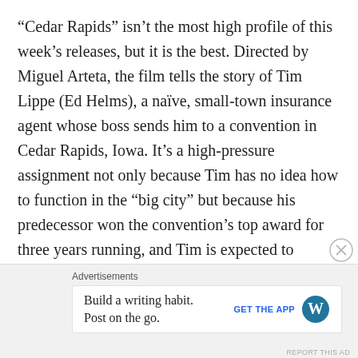“Cedar Rapids” isn’t the most high profile of this week’s releases, but it is the best. Directed by Miguel Arteta, the film tells the story of Tim Lippe (Ed Helms), a naïve, small-town insurance agent whose boss sends him to a convention in Cedar Rapids, Iowa. It’s a high-pressure assignment not only because Tim has no idea how to function in the “big city” but because his predecessor won the convention’s top award for three years running, and Tim is expected to continue the trend. Tim thinks he’s up for the assignment until he falls in with three more experienced insurance reps (John C. Reilly, Anne Heche and Isiah Whitlock Jr.) who believe that all work an no play make for dull times.
Advertisements
[Figure (other): Advertisement banner: 'Build a writing habit. Post on the go.' with GET THE APP button and WordPress logo]